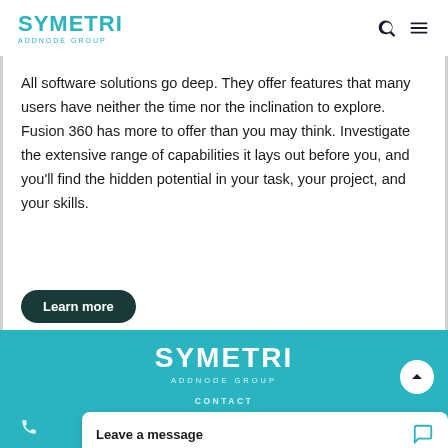SYMETRI ADDNODE GROUP
All software solutions go deep. They offer features that many users have neither the time nor the inclination to explore. Fusion 360 has more to offer than you may think. Investigate the extensive range of capabilities it lays out before you, and you'll find the hidden potential in your task, your project, and your skills.
Learn more
[Figure (logo): Symetri Addnode Group white logo on teal background]
CONTACT
Leave a message